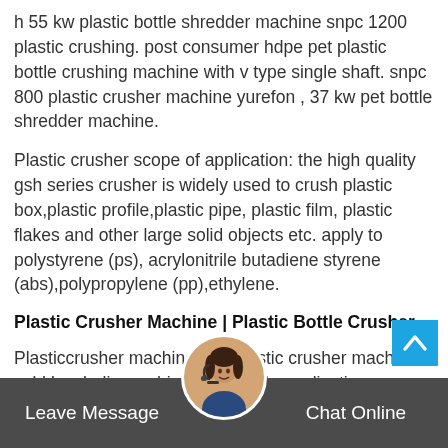h 55 kw plastic bottle shredder machine snpc 1200 plastic crushing. post consumer hdpe pet plastic bottle crushing machine with v type single shaft. snpc 800 plastic crusher machine yurefon , 37 kw pet bottle shredder machine.
Plastic crusher scope of application: the high quality gsh series crusher is widely used to crush plastic box,plastic profile,plastic pipe, plastic film, plastic flakes and other large solid objects etc. apply to polystyrene (ps), acrylonitrile butadiene styrene (abs),polypropylene (pp),ethylene.
Plastic Crusher Machine | Plastic Bottle Crusher
Plasticcrusher machine. the plastic crusher machine sold by shuliy machinery has wide applications and can be used to crush all recycle plastic materials with different shapes. the processing technology is
Leave Message   Chat Online